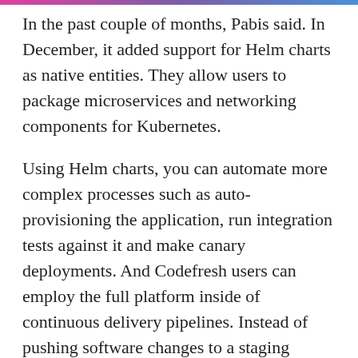In the past couple of months, Pabis said. In December, it added support for Helm charts as native entities. They allow users to package microservices and networking components for Kubernetes.
Using Helm charts, you can automate more complex processes such as auto-provisioning the application, run integration tests against it and make canary deployments. And Codefresh users can employ the full platform inside of continuous delivery pipelines. Instead of pushing software changes to a staging server and running tests, the automated pipeline can spin up an environment on demand and load the full application for tests.